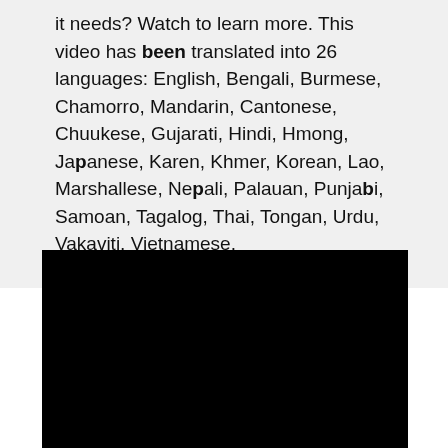it needs? Watch to learn more. This video has been translated into 26 languages: English, Bengali, Burmese, Chamorro, Mandarin, Cantonese, Chuukese, Gujarati, Hindi, Hmong, Japanese, Karen, Khmer, Korean, Lao, Marshallese, Nepali, Palauan, Punjabi, Samoan, Tagalog, Thai, Tongan, Urdu, Vakaviti, Vietnamese.
[Figure (other): Black video player rectangle]